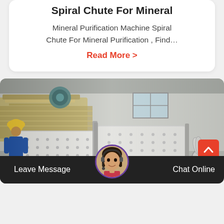Spiral Chute For Mineral
Mineral Purification Machine Spiral Chute For Mineral Purification , Find…
Read More >
[Figure (photo): Industrial facility showing large mineral processing / vibrating screen equipment. Workers in hard hats visible on the left side. Large white perforated screening panels with mechanical components in the foreground. Industrial warehouse interior.]
Leave Message
Chat Online